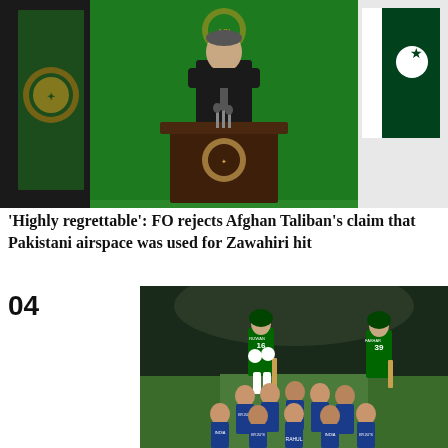[Figure (photo): A man in a dark suit speaking at a podium with Pakistan flags and emblems in the background. Green backdrop with official seals.]
'Highly regrettable': FO rejects Afghan Taliban's claim that Pakistani airspace was used for Zawahiri hit
04
[Figure (photo): Cricket match scene showing Pakistan players in green jerseys (numbers 16 and 39) and India players in blue BYJU's sponsored jerseys gathered on a cricket field at night.]